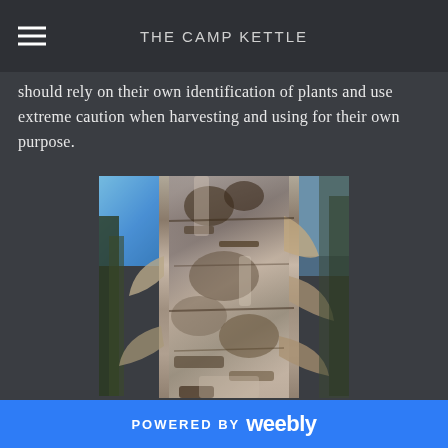THE CAMP KETTLE
should rely on their own identification of plants and use extreme caution when harvesting and using for their own purpose.
[Figure (photo): Close-up photograph of tree bark, showing white/grey textured bark with peeling layers. Blue sky and other trees visible in the background. Likely a birch or aspen tree trunk.]
POWERED BY weebly